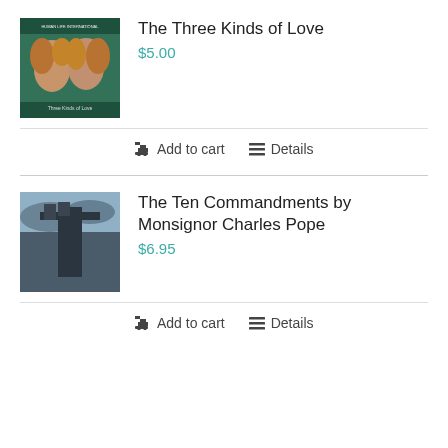[Figure (photo): Book cover for 'The Three Kinds of Love' showing two Renaissance-style women's faces on a green background]
The Three Kinds of Love
$5.00
Add to cart
Details
[Figure (photo): Book cover for 'The Ten Commandments by Monsignor Charles Pope' showing a dark statue figure holding stone tablets against a stormy sky]
The Ten Commandments by Monsignor Charles Pope
$6.95
Add to cart
Details